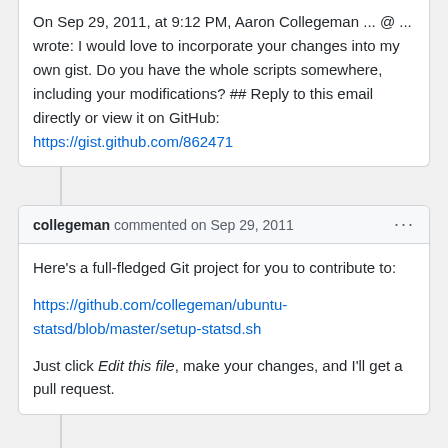On Sep 29, 2011, at 9:12 PM, Aaron Collegeman ... @ ... wrote: I would love to incorporate your changes into my own gist. Do you have the whole scripts somewhere, including your modifications? ## Reply to this email directly or view it on GitHub: https://gist.github.com/862471
collegeman commented on Sep 29, 2011
Here's a full-fledged Git project for you to contribute to:

https://github.com/collegeman/ubuntu-statsd/blob/master/setup-statsd.sh

Just click Edit this file, make your changes, and I'll get a pull request.
ngara commented on Oct 6, 2011
Did you get the pull request? Do I need to do anything else to